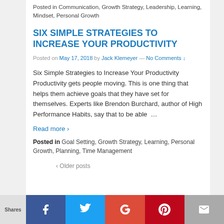Posted in Communication, Growth Strategy, Leadership, Learning, Mindset, Personal Growth
SIX SIMPLE STRATEGIES TO INCREASE YOUR PRODUCTIVITY
Posted on May 17, 2018 by Jack Klemeyer — No Comments ↓
Six Simple Strategies to Increase Your Productivity Productivity gets people moving. This is one thing that helps them achieve goals that they have set for themselves. Experts like Brendon Burchard, author of High Performance Habits, say that to be able  …
Read more ›
Posted in Goal Setting, Growth Strategy, Learning, Personal Growth, Planning, Time Management
‹ Older posts
[Figure (infographic): Social sharing bar with Facebook, Twitter, Google+, Pinterest, and email buttons. Shares label on left.]